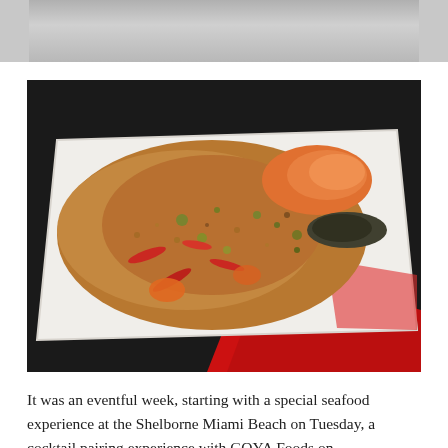[Figure (photo): Partial view of a food/event photo at the top of the page, cropped, showing a grey/neutral background]
[Figure (photo): A white paper tray or boat containing a seafood rice dish with shrimp, vegetables, red peppers, and herbs on a dark background with a red napkin or wrapper visible underneath]
It was an eventful week, starting with a special seafood experience at the Shelborne Miami Beach on Tuesday, a cocktail pairing experience with GOYA Foods on